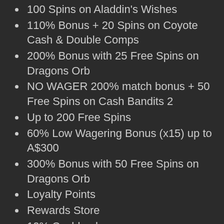100 Spins on Aladdin's Wishes
110% Bonus + 20 Spins on Coyote Cash & Double Comps
200% Bonus with 25 Free Spins on Dragons Orb
NO WAGER 200% match bonus + 50 Free Spins on Cash Bandits 2
Up to 200 Free Spins
60% Low Wagering Bonus (x15) up to A$300
300% Bonus with 50 Free Spins on Dragons Orb
Loyalty Points
Rewards Store
10% Cashback
You may find the site offering special deals at certain times, so always check the Cashier